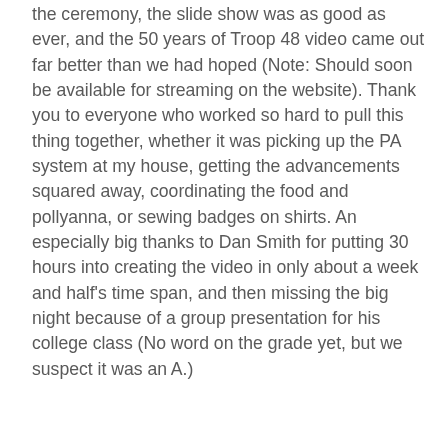the ceremony, the slide show was as good as ever, and the 50 years of Troop 48 video came out far better than we had hoped (Note: Should soon be available for streaming on the website). Thank you to everyone who worked so hard to pull this thing together, whether it was picking up the PA system at my house, getting the advancements squared away, coordinating the food and pollyanna, or sewing badges on shirts. An especially big thanks to Dan Smith for putting 30 hours into creating the video in only about a week and half's time span, and then missing the big night because of a group presentation for his college class (No word on the grade yet, but we suspect it was an A.)